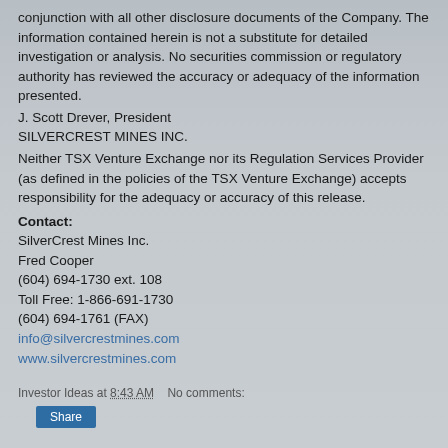conjunction with all other disclosure documents of the Company. The information contained herein is not a substitute for detailed investigation or analysis. No securities commission or regulatory authority has reviewed the accuracy or adequacy of the information presented.
J. Scott Drever, President
SILVERCREST MINES INC.
Neither TSX Venture Exchange nor its Regulation Services Provider (as defined in the policies of the TSX Venture Exchange) accepts responsibility for the adequacy or accuracy of this release.
Contact:
SilverCrest Mines Inc.
Fred Cooper
(604) 694-1730 ext. 108
Toll Free: 1-866-691-1730
(604) 694-1761 (FAX)
info@silvercrestmines.com
www.silvercrestmines.com
Investor Ideas at 8:43 AM    No comments:
Share